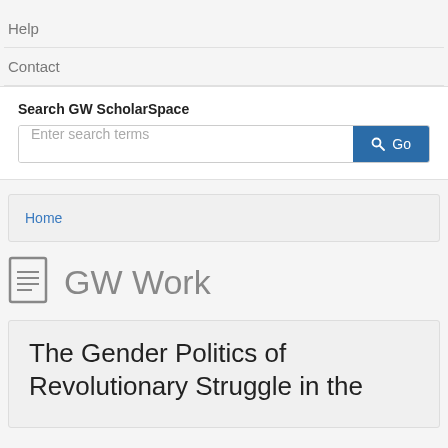Help
Contact
Search GW ScholarSpace
Enter search terms  Go
Home
GW Work
The Gender Politics of Revolutionary Struggle in the